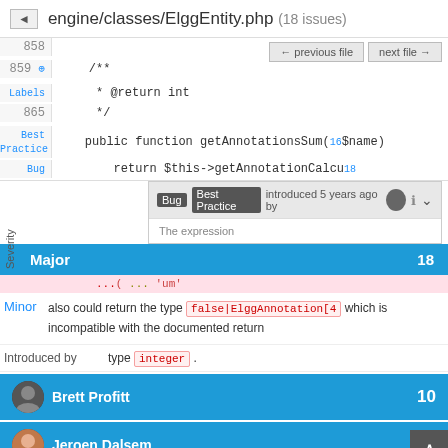engine/classes/ElggEntity.php (18 issues)
[Figure (screenshot): Code viewer showing lines 858-867 of ElggEntity.php with annotations for Best Practice and Bug issues. Navigation buttons for previous file and next file. Line 859 has a + button, lines show PHP code including a docblock with @return int and a public function getAnnotationsSum($name) and return $this->getAnnotationCalcu...]
Bug Best Practice introduced 5 years ago by
The expression ... also could return the type false|ElggAnnotation[4] which is incompatible with the documented return type integer .
Major 18
Minor
Introduced by
Brett Profitt 10
Jeroen Dalsem 4